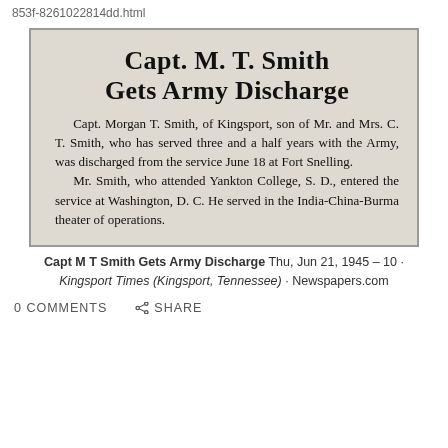853f-8261022814dd.html
[Figure (photo): Scanned newspaper clipping showing headline 'Capt. M. T. Smith Gets Army Discharge' with body text about Capt. Morgan T. Smith of Kingsport being discharged from the Army on June 18 at Fort Snelling, having attended Yankton College S.D. and served in the India-China-Burma theater of operations.]
Capt M T Smith Gets Army Discharge Thu, Jun 21, 1945 – 10 · Kingsport Times (Kingsport, Tennessee) · Newspapers.com
0 COMMENTS
SHARE